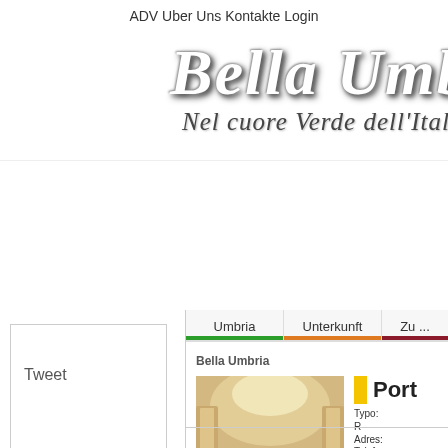ADV  Uber Uns  Kontakte  Login
Bella Umbri...
Nel cuore Verde dell'Itali...
Tweet
Umbria  Unterkunft  Zu...
Bella Umbria
[Figure (photo): Interior of an Italian church/chapel showing an ornate gilded altarpiece with frescoes and a domed ceiling]
Port...  Typo...  R...  Adres...  Telef...  Fax:  www....  info@...